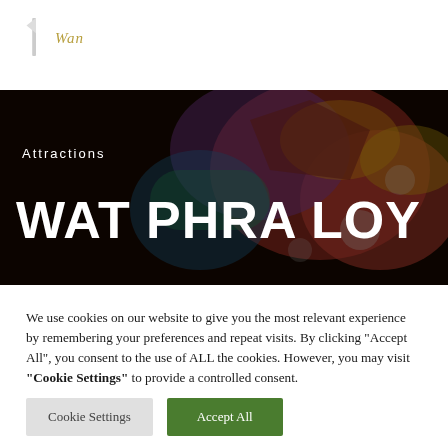Wan
[Figure (photo): Thai temple decorative mural/artwork with colorful figures, overlaid with dark semi-transparent layer. Text 'Attractions' and 'WAT PHRA LOY' displayed over the image.]
Attractions
WAT PHRA LOY
We use cookies on our website to give you the most relevant experience by remembering your preferences and repeat visits. By clicking “Accept All”, you consent to the use of ALL the cookies. However, you may visit “Cookie Settings” to provide a controlled consent.
Cookie Settings
Accept All